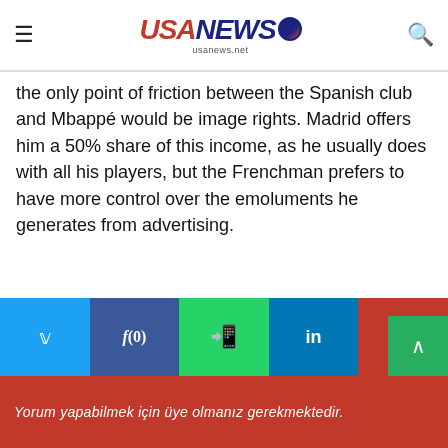USA NEWS usanews.net
the only point of friction between the Spanish club and Mbappé would be image rights. Madrid offers him a 50% share of this income, as he usually does with all his players, but the Frenchman prefers to have more control over the emoluments he generates from advertising.
4
Twitter  f(0)  WhatsApp  in  Pinterest
Yorum yapabilmek için üye olmanız gerekmektedir.